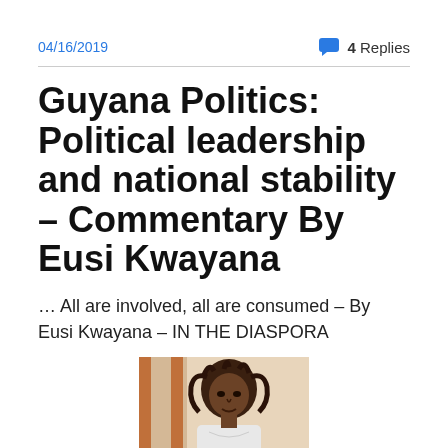04/16/2019    💬 4 Replies
Guyana Politics: Political leadership and national stability – Commentary By Eusi Kwayana
… All are involved, all are consumed – By Eusi Kwayana – IN THE DIASPORA
[Figure (photo): Photograph of Eusi Kwayana, an elderly man seated, with dreadlocks, wearing a white garment, in front of a striped background.]